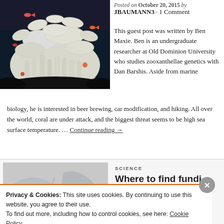[Figure (photo): Coral reef photograph showing white branching coral and colorful fish against a dark background]
Posted on October 20, 2015 by JBAUMANN3 · 1 Comment
This guest post was written by Ben Maxie. Ben is an undergraduate researcher at Old Dominion University who studies zooxanthellae genetics with Dan Barshis. Aside from marine biology, he is interested in beer brewing, car modification, and hiking. All over the world, coral are under attack, and the biggest threat seems to be high sea surface temperature. … Continue reading →
SCIENCE
Where to find funding fo...
[Figure (photo): Partially visible thumbnail image for the next article about finding funding]
Privacy & Cookies: This site uses cookies. By continuing to use this website, you agree to their use.
To find out more, including how to control cookies, see here: Cookie Policy
Close and accept